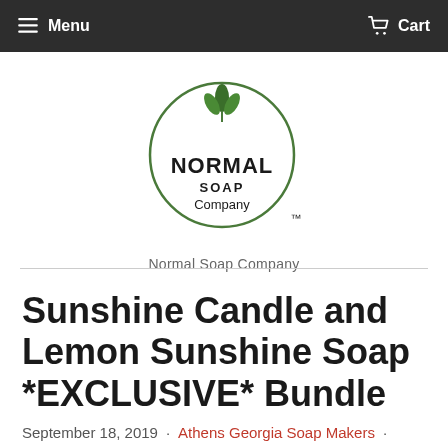Menu  Cart
[Figure (logo): Normal Soap Company circular logo with green leaves icon, company name inside circle, trademark symbol]
Normal Soap Company
Sunshine Candle and Lemon Sunshine Soap *EXCLUSIVE* Bundle
September 18, 2019  ·  Athens Georgia Soap Makers  ·